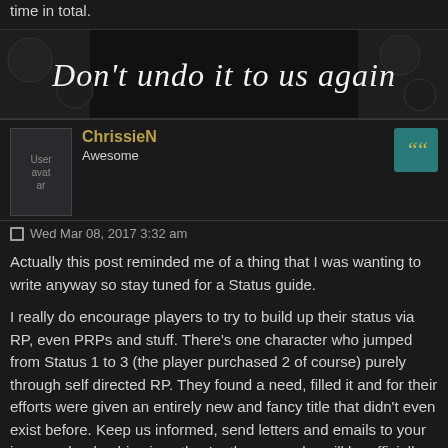time in total.
[Figure (illustration): Dark banner image with dice in background and stylized cursive script reading 'Don't undo it to us again']
ChrissieN
Awesome
Wed Mar 08, 2017 3:32 am
Actually this post reminded me of a thing that I was wanting to write anyway so stay tuned for a Status guide.

I really do encourage players to try to build up their status via RP, even PRPs and stuff. There's one character who jumped from Status 1 to 3 (the player purchased 2 of course) purely through self directed RP. They found a need, filled it and for their efforts were given an entirely new and fancy title that didn't even exist before. Keep us informed, send letters and emails to your in group leadership since they're the ones who will be officially granting status.
[Figure (illustration): Dark banner image at bottom, partial view]